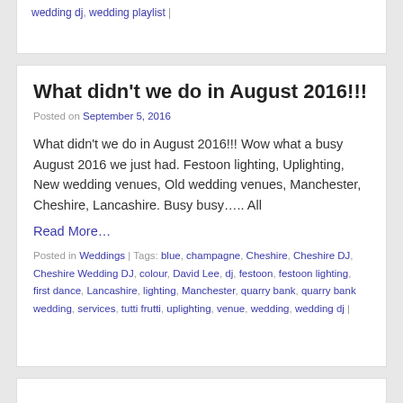wedding dj, wedding playlist |
What didn't we do in August 2016!!!
Posted on September 5, 2016
What didn't we do in August 2016!!! Wow what a busy August 2016 we just had. Festoon lighting, Uplighting, New wedding venues, Old wedding venues, Manchester, Cheshire, Lancashire. Busy busy….. All
Read More…
Posted in Weddings | Tags: blue, champagne, Cheshire, Cheshire DJ, Cheshire Wedding DJ, colour, David Lee, dj, festoon, festoon lighting, first dance, Lancashire, lighting, Manchester, quarry bank, quarry bank wedding, services, tutti frutti, uplighting, venue, wedding, wedding dj |